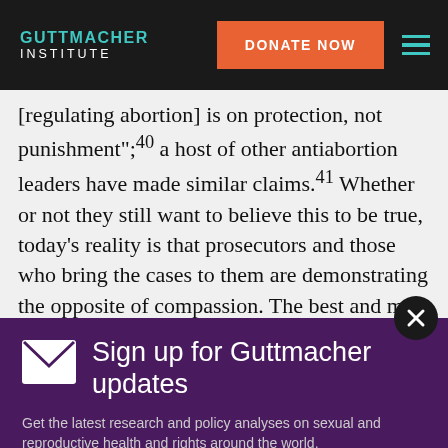GUTTMACHER INSTITUTE | DONATE NOW
[regulating abortion] is on protection, not punishment";40 a host of other antiabortion leaders have made similar claims.41 Whether or not they still want to believe this to be true, today’s reality is that prosecutors and those who bring the cases to them are demonstrating the opposite of compassion. The best and most acceptable way to reduce the incidence of abortion always has been and still is to reduce the ne…
Sign up for Guttmacher updates
Get the latest research and policy analyses on sexual and reproductive health and rights around the world.
SUBSCRIBE